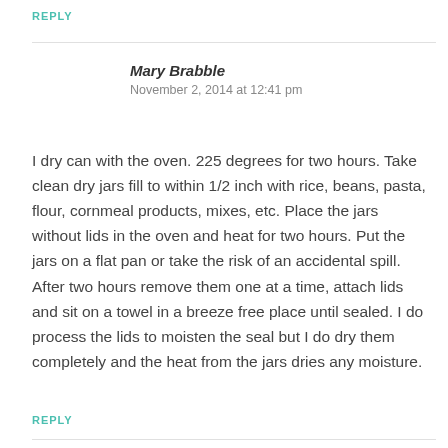REPLY
Mary Brabble
November 2, 2014 at 12:41 pm
I dry can with the oven. 225 degrees for two hours. Take clean dry jars fill to within 1/2 inch with rice, beans, pasta, flour, cornmeal products, mixes, etc. Place the jars without lids in the oven and heat for two hours. Put the jars on a flat pan or take the risk of an accidental spill. After two hours remove them one at a time, attach lids and sit on a towel in a breeze free place until sealed. I do process the lids to moisten the seal but I do dry them completely and the heat from the jars dries any moisture.
REPLY